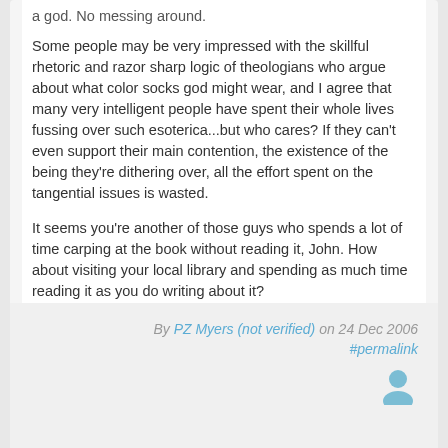a god. No messing around.
Some people may be very impressed with the skillful rhetoric and razor sharp logic of theologians who argue about what color socks god might wear, and I agree that many very intelligent people have spent their whole lives fussing over such esoterica...but who cares? If they can't even support their main contention, the existence of the being they're dithering over, all the effort spent on the tangential issues is wasted.
It seems you're another of those guys who spends a lot of time carping at the book without reading it, John. How about visiting your local library and spending as much time reading it as you do writing about it?
By PZ Myers (not verified) on 24 Dec 2006 #permalink